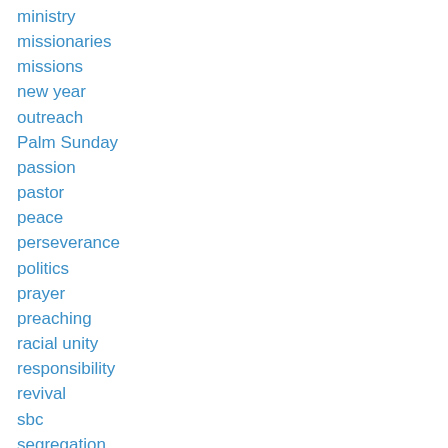ministry
missionaries
missions
new year
outreach
Palm Sunday
passion
pastor
peace
perseverance
politics
prayer
preaching
racial unity
responsibility
revival
sbc
segregation
seminary
servant leadership, Christian leadership